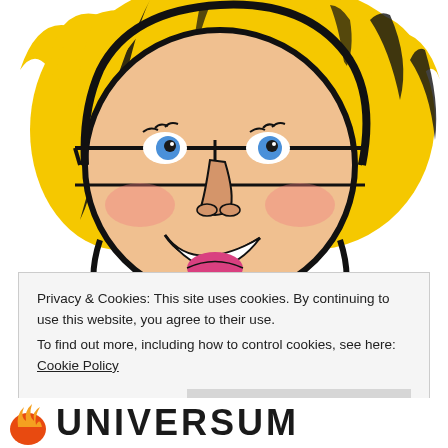[Figure (illustration): Cartoon illustration of a smiling blonde woman with glasses, rendered in comic/caricature style with yellow hair, blue eyes, rosy cheeks, pink lips and black outlines, contained within a circular frame.]
Privacy & Cookies: This site uses cookies. By continuing to use this website, you agree to their use.
To find out more, including how to control cookies, see here: Cookie Policy
[Figure (logo): Universum logo with orange flame/figure icon on the left and bold uppercase UNIVERSUM text in dark color.]